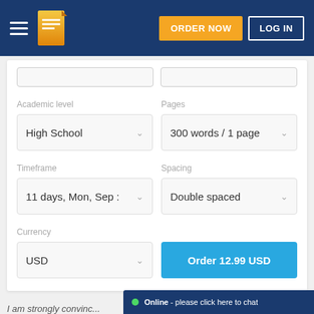ORDER NOW | LOG IN
Academic level
High School
Pages
300 words / 1 page
Timeframe
11 days, Mon, Sep :
Spacing
Double spaced
Currency
USD
Order 12.99 USD
Online - please click here to chat
I am strongly convinc...